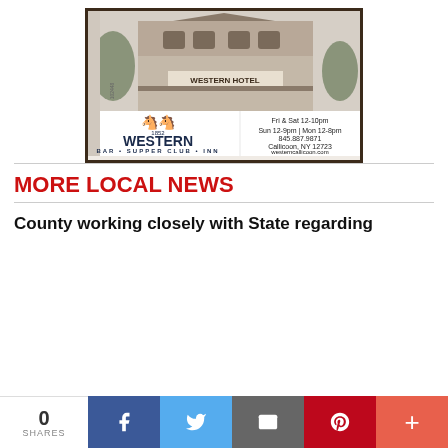[Figure (photo): Historical black and white photograph of Western Hotel building with people on porches, decorated with bunting. Below the photo is the Western Bar Supper Club Inn advertisement with two horse logos, year 1852, and contact info: Fri & Sat 12-10pm, Sun 12-9pm, Mon 12-8pm, 845.887.9871, Callicoon, NY 12723, westerncallicoon.com]
MORE LOCAL NEWS
County working closely with State regarding
0 SHARES | Facebook | Twitter | Email | Pinterest | +